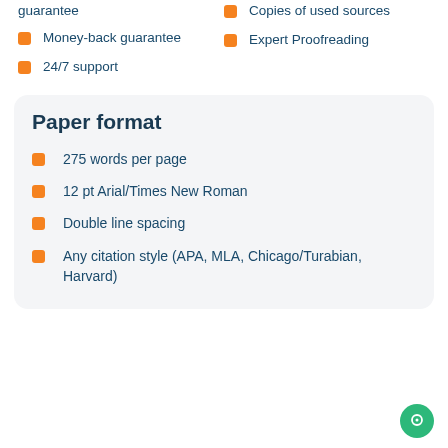guarantee
Copies of used sources
Money-back guarantee
Expert Proofreading
24/7 support
Paper format
275 words per page
12 pt Arial/Times New Roman
Double line spacing
Any citation style (APA, MLA, Chicago/Turabian, Harvard)